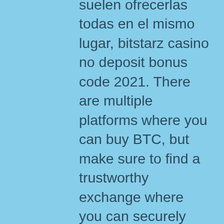suelen ofrecerlas todas en el mismo lugar, bitstarz casino no deposit bonus code 2021. There are multiple platforms where you can buy BTC, but make sure to find a trustworthy exchange where you can securely acquire them, bitstarz english. Nowadays, clone BTC-to-cash exchanges can be hard to notice. They are an essential part of Bitcoin gaming, so you would be hard-pressed to find a casino that doesn't actually offer them. Now, as to the value of each free spin, you will have to consult with the casino's specific terms and conditions, bitstarz website. Online since: 2020 License: Curacao Min deposit: '10 Min withdraw: '20 Website: Bonus Information. Bonus: 10 BTC Bonus%: 100% Free Spins: 100 Wagering: 45x Get Bonus, bitstarz casino australia login. After you do that, you confirm the transaction and wait a bit for the funds to hit your account, bitstarz is legit. Ever since the invention of the internet, it is entirely normal for people to